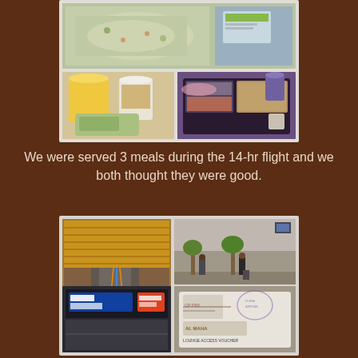[Figure (photo): Collage of 3 in-flight meal photos: top shows a tray with rice/noodle dish and a card, bottom-left shows orange juice, yogurt and snack bag, bottom-right shows a full meal tray with multiple dishes in an airplane cabin with purple lighting.]
We were served 3 meals during the 14-hr flight and we both thought they were good.
[Figure (photo): Collage of 4 airport photos: large left photo shows a long moving walkway with wooden ceiling at an airport terminal, top-right shows an airport concourse with palm trees and travelers, bottom-left shows airport signage and gates, bottom-right shows an Al Maha lounge access voucher document.]